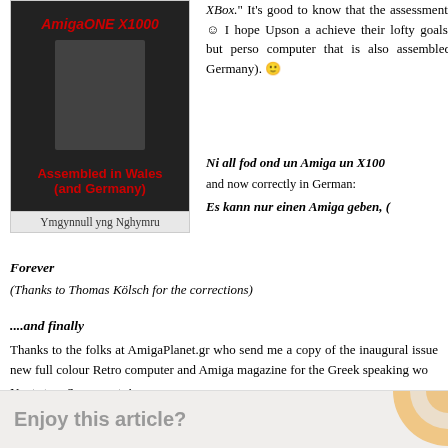[Figure (photo): AmigaONE X1000 computer product image with text 'AmigaONE X1000' and 'Assembled in Wales (and Germany)' in red on dark background]
Ymgynnull yng Nghymru
XBox." It's good to know that the assessment. 🙂 I hope Upson a achieve their lofty goals, but perso computer that is also assembled Germany). 🙂
Ni all fod ond un Amiga un X100 and now correctly in German:
Es kann nur einen Amiga geben, (
Forever
(Thanks to Thomas Kölsch for the corrections)
....and finally
Thanks to the folks at AmigaPlanet.gr who send me a copy of the inaugural issue new full colour Retro computer and Amiga magazine for the Greek speaking wo
Next stop, Sacramento!
Enjoy this article?